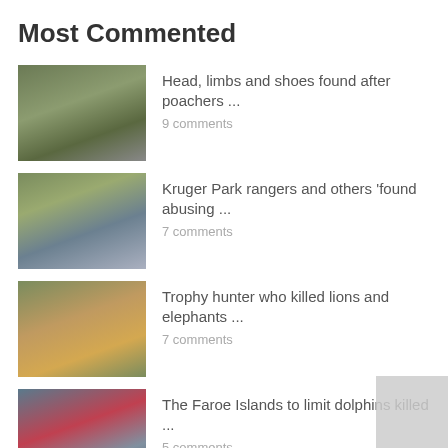Most Commented
Head, limbs and shoes found after poachers ...
9 comments
Kruger Park rangers and others 'found abusing ...
7 comments
Trophy hunter who killed lions and elephants ...
7 comments
The Faroe Islands to limit dolphins killed ...
5 comments